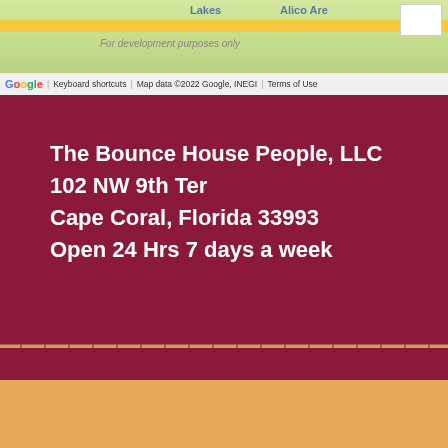[Figure (map): Google Maps screenshot showing a map area with roads and location labels including 'Lakes' and 'Alico Are'. Bottom bar shows Google logo, 'Keyboard shortcuts', 'Map data ©2022 Google, INEGI', and 'Terms of Use'.]
The Bounce House People, LLC
102 NW 9th Ter
Cape Coral, Florida 33993
Open 24 Hrs 7 days a week